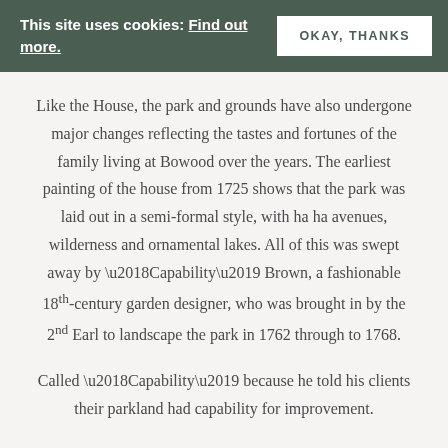This site uses cookies: Find out more.  OKAY, THANKS
Like the House, the park and grounds have also undergone major changes reflecting the tastes and fortunes of the family living at Bowood over the years. The earliest painting of the house from 1725 shows that the park was laid out in a semi-formal style, with ha ha avenues, wilderness and ornamental lakes. All of this was swept away by ‘Capability’ Brown, a fashionable 18th-century garden designer, who was brought in by the 2nd Earl to landscape the park in 1762 through to 1768.
Called ‘Capability’ because he told his clients their parkland had capability for improvement.